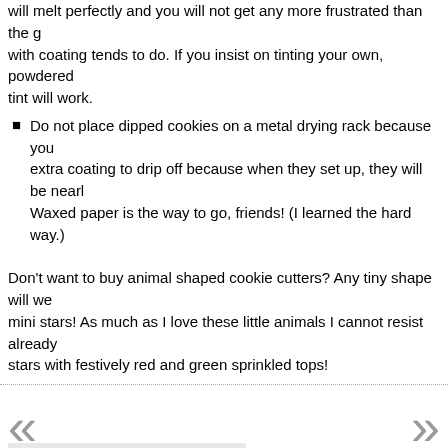will melt perfectly and you will not get any more frustrated than the g... with coating tends to do. If you insist on tinting your own, powdered tint will work.
Do not place dipped cookies on a metal drying rack because you extra coating to drip off because when they set up, they will be nearl... Waxed paper is the way to go, friends! (I learned the hard way.)
Don't want to buy animal shaped cookie cutters? Any tiny shape will w... mini stars! As much as I love these little animals I cannot resist already stars with festively red and green sprinkled tops!
Print this recipe